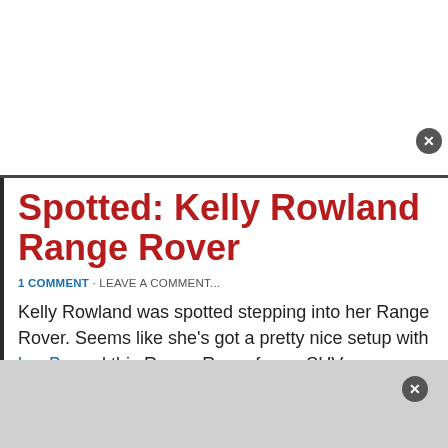Spotted: Kelly Rowland Range Rover
1 COMMENT · LEAVE A COMMENT...
Kelly Rowland was spotted stepping into her Range Rover. Seems like she's got a pretty nice setup with her Be and this Range Rover for an SUV.
[Figure (photo): Photo of a woman with dark hair stepping near a dark vehicle, partial view showing head and upper body]